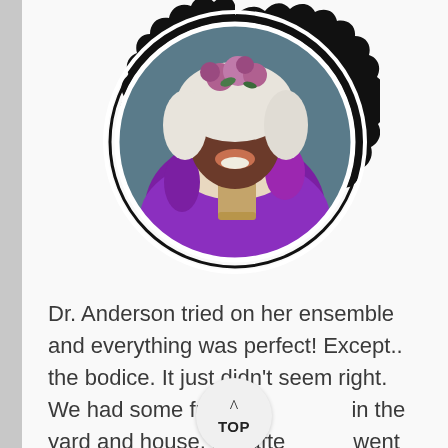[Figure (photo): A smiling woman wearing a Victorian-style bonnet decorated with purple roses and lace, holding a burlap scroll, dressed in a purple satin ensemble with white lace accents. The portrait is framed in a decorative wax seal / stamp-shaped circular black border.]
Dr. Anderson tried on her ensemble and everything was perfect!  Except.. the bodice.  It just didn't seem right.  We had some fun with [TOP button overlay] in the yard and house, but after [TOP button] went back for a complete remake of the bodice,